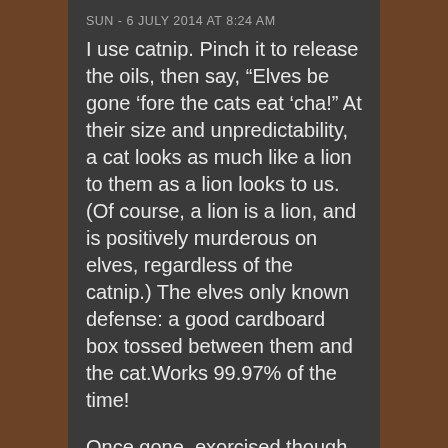SUN - 6 JULY 2014 AT 8:24 AM
I use catnip. Pinch it to release the oils, then say, “Elves be gone ‘fore the cats eat ‘cha!” At their size and unpredictability, a cat looks as much like a lion to them as a lion looks to us. (Of course, a lion is a lion, and is positively murderous on elves, regardless of the catnip.) The elves only known defense: a good cardboard box tossed between them and the cat.Works 99.97% of the time!
Once gone, exorcised though,